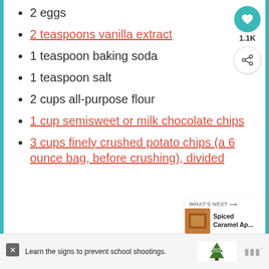2 eggs
2 teaspoons vanilla extract
1 teaspoon baking soda
1 teaspoon salt
2 cups all-purpose flour
1 cup semisweet or milk chocolate chips
3 cups finely crushed potato chips (a 6 ounce bag, before crushing), divided
[Figure (infographic): Teal heart favorite button with 1.1K count and share button on right sidebar]
[Figure (infographic): What's Next panel showing Spiced Caramel Ap... with thumbnail]
[Figure (infographic): Advertisement banner: Learn the signs to prevent school shootings. Sandy Hook Promise logo]